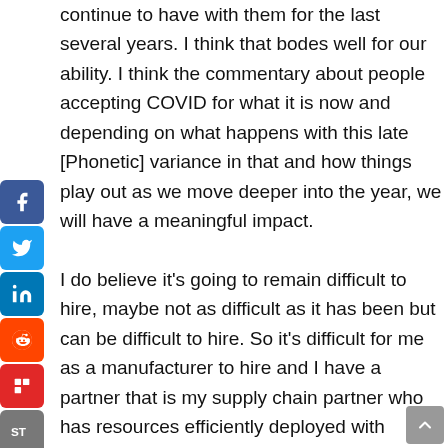continue to have with them for the last several years. I think that bodes well for our ability. I think the commentary about people accepting COVID for what it is now and depending on what happens with this late [Phonetic] variance in that and how things play out as we move deeper into the year, we will have a meaningful impact.

I do believe it's going to remain difficult to hire, maybe not as difficult as it has been but can be difficult to hire. So it's difficult for me as a manufacturer to hire and I have a partner that is my supply chain partner who has resources efficiently deployed with technology to assist them to come into my building. That's the easiest way to hire, because I can say the past [Phonetic] yes, I'll take that Onsite model and you're going to put, how many you're going to put in, maybe it's one, maybe it's